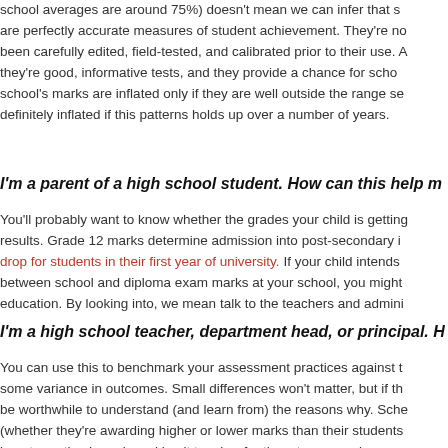school averages are around 75%) doesn't mean we can infer that scores are perfectly accurate measures of student achievement. They're not. been carefully edited, field-tested, and calibrated prior to their use. A they're good, informative tests, and they provide a chance for school school's marks are inflated only if they are well outside the range se definitely inflated if this patterns holds up over a number of years.
I'm a parent of a high school student. How can this help m
You'll probably want to know whether the grades your child is getting results. Grade 12 marks determine admission into post-secondary i drop for students in their first year of university. If your child intends between school and diploma exam marks at your school, you might education. By looking into, we mean talk to the teachers and admini
I'm a high school teacher, department head, or principal. H
You can use this to benchmark your assessment practices against t some variance in outcomes. Small differences won't matter, but if th be worthwhile to understand (and learn from) the reasons why. Sche (whether they're awarding higher or lower marks than their students long term, they're only making it tougher for them to succeed.